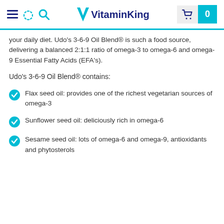VitaminKing
your daily diet. Udo's 3-6-9 Oil Blend® is such a food source, delivering a balanced 2:1:1 ratio of omega-3 to omega-6 and omega-9 Essential Fatty Acids (EFA's).
Udo's 3-6-9 Oil Blend® contains:
Flax seed oil: provides one of the richest vegetarian sources of omega-3
Sunflower seed oil: deliciously rich in omega-6
Sesame seed oil: lots of omega-6 and omega-9, antioxidants and phytosterols